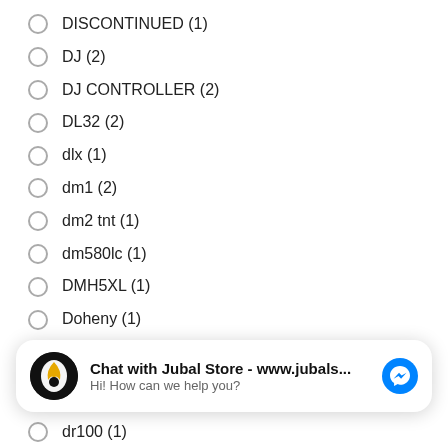DISCONTINUED (1)
DJ (2)
DJ CONTROLLER (2)
DL32 (2)
dlx (1)
dm1 (2)
dm2 tnt (1)
dm580lc (1)
DMH5XL (1)
Doheny (1)
[Figure (screenshot): Chat widget: 'Chat with Jubal Store - www.jubals...' with Messenger icon and 'Hi! How can we help you?' subtitle]
dr100 (1)